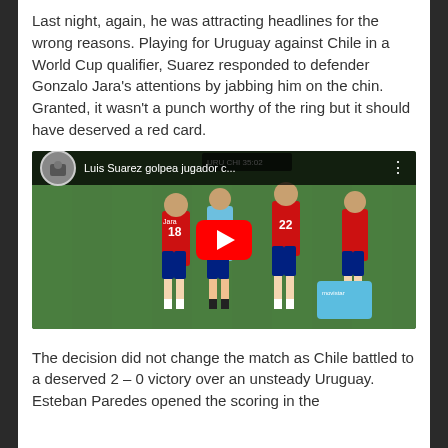Last night, again, he was attracting headlines for the wrong reasons. Playing for Uruguay against Chile in a World Cup qualifier, Suarez responded to defender Gonzalo Jara's attentions by jabbing him on the chin. Granted, it wasn't a punch worthy of the ring but it should have deserved a red card.
[Figure (screenshot): YouTube video thumbnail showing Luis Suarez hitting a Chilean player during a soccer match. Players in red (Chile) and blue (Uruguay) jerseys visible. Red YouTube play button overlay. Title bar reads 'Luis Suarez golpea jugador c...' with channel avatar.]
The decision did not change the match as Chile battled to a deserved 2 – 0 victory over an unsteady Uruguay. Esteban Paredes opened the scoring in the